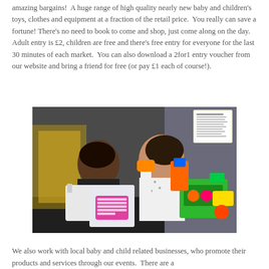amazing bargains!  A huge range of high quality nearly new baby and children's toys, clothes and equipment at a fraction of the retail price.  You really can save a fortune! There's no need to book to come and shop, just come along on the day. Adult entry is £2, children are free and there's free entry for everyone for the last 30 minutes of each market.  You can also download a 2for1 entry voucher from our website and bring a friend for free (or pay £1 each of course!).
[Figure (photo): Two smiling women holding shopping bags and colorful children's toys at a nearly new baby and children's market.]
We also work with local baby and child related businesses, who promote their products and services through our events.  There are a